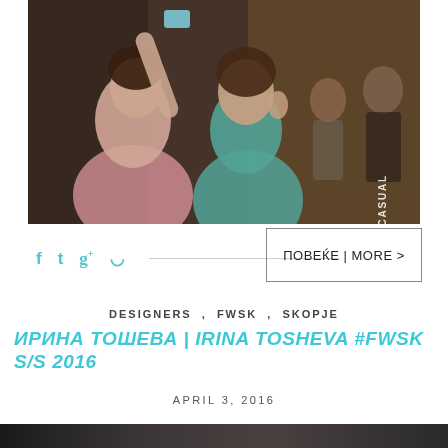[Figure (photo): Two women at an indoor event, one taking a selfie with a phone, the other wearing a teal top. Background shows people in a dimly lit venue.]
f  t  g+   pinterest icons with horizontal line
ПОВЕЌЕ | MORE >
DESIGNERS , FWSK , SKOPJE
ИРИНА ТОШЕВА | IRINA TOSHEVA #FWSK S/S 2016
APRIL 3, 2016
[Figure (photo): Partial view of another photo at the bottom of the page, dark tones.]